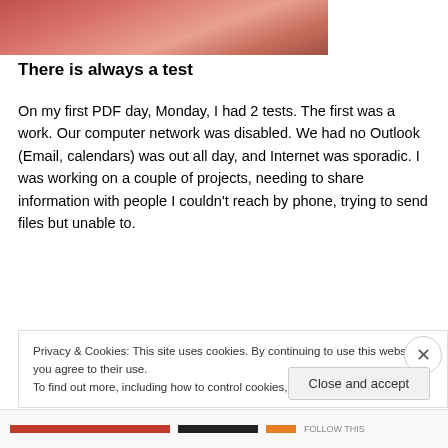[Figure (photo): Close-up photo showing skin tones with reddish/pink hues, cropped at top of page]
There is always a test
On my first PDF day, Monday, I had 2 tests. The first was a work. Our computer network was disabled. We had no Outlook (Email, calendars) was out all day, and Internet was sporadic. I was working on a couple of projects, needing to share information with people I couldn't reach by phone, trying to send files but unable to.
When systems were back up around 4 PM, I was madly
Privacy & Cookies: This site uses cookies. By continuing to use this website, you agree to their use.
To find out more, including how to control cookies, see here: Cookie Policy
Close and accept